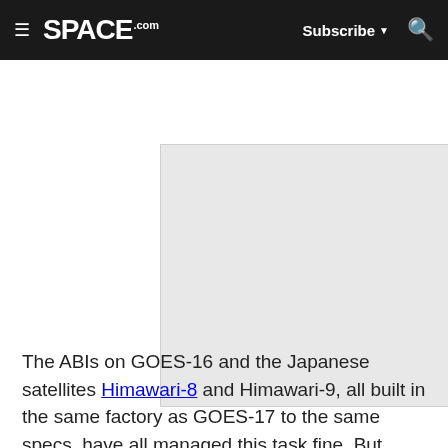SPACE.com — Subscribe — Search
[Figure (photo): Gray placeholder image for a space-related photograph]
The ABIs on GOES-16 and the Japanese satellites Himawari-8 and Himawari-9, all built in the same factory as GOES-17 to the same specs, have all managed this task fine. But GOES-17's cooling system